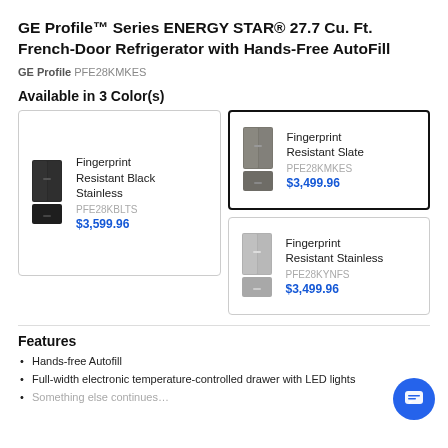GE Profile™ Series ENERGY STAR® 27.7 Cu. Ft. French-Door Refrigerator with Hands-Free AutoFill
GE Profile PFE28KMKES
Available in 3 Color(s)
[Figure (photo): Color option card: Fingerprint Resistant Black Stainless refrigerator image, SKU PFE28KBLTS, $3,599.96]
[Figure (photo): Color option card (selected): Fingerprint Resistant Slate refrigerator image, SKU PFE28KMKES, $3,499.96]
[Figure (photo): Color option card: Fingerprint Resistant Stainless refrigerator image, SKU PFE28KYNFS, $3,499.96]
Features
Hands-free Autofill
Full-width electronic temperature-controlled drawer with LED lights
Something else continues…